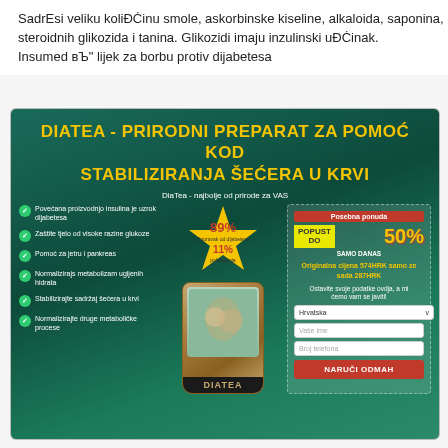SadrEsi veliku koliĐĊinu smole, askorbinske kiseline, alkaloida, saponina, steroidnih glikozida i tanina. Glikozidi imaju inzulinski uĐĊinak. Insumed вЪ" lijek za borbu protiv dijabetesa
[Figure (infographic): DiaТea advertisement banner. Dark green background with large yellow bold title 'DIATEA - PRIRODNI PREPARAT ZA POMOĆ KOD STABILIZIRANJA ŠEĆERA U KRVI'. Center shows product can labeled DIATEA with a golden/brown design. Left side has 6 bullet points with check icons. Center-left shows star-shaped badge with 89% and 11% statistics. Right side shows promotional offer: 50% popust do samo danas, original price 574HRK reduced to 287HRK, with a form (Croatia dropdown, name field, phone field) and red NARUČI ODMAH button.]